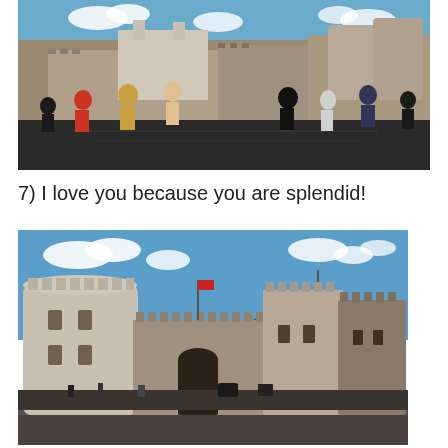[Figure (photo): Tourists walking in front of the Tower of London. Medieval stone fortress with towers visible in the background, people walking on a plaza in the foreground on a sunny day.]
7) I love you because you are splendid!
[Figure (photo): The Tower of London viewed from across the Thames. Large cylindrical stone towers with crenellations, blue sky with white clouds in the background.]